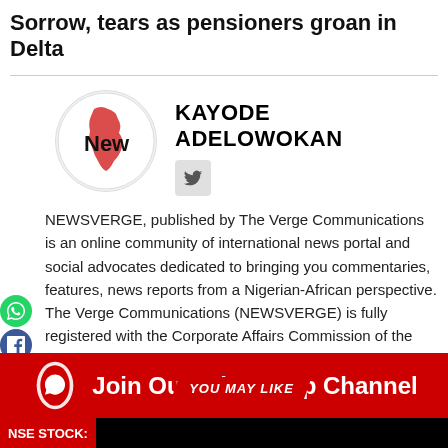Sorrow, tears as pensioners groan in Delta
[Figure (logo): NewsVerge circular logo with red Africa map outline and 'New' text]
KAYODE ADELOWOKAN
NEWSVERGE, published by The Verge Communications is an online community of international news portal and social advocates dedicated to bringing you commentaries, features, news reports from a Nigerian-African perspective. The Verge Communications (NEWSVERGE) is fully registered with the Corporate Affairs Commission of the Federal Republic of Nigeria as a corporate organization.
YOU MAY LIKE
[Figure (infographic): Red banner: Join Our WhatsApp Channel with WhatsApp icon]
NSE STOCK: